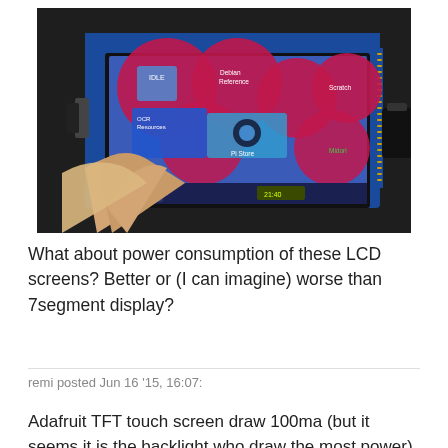[Figure (photo): Hand holding a Raspberry Pi with a small TFT touchscreen display showing the Raspberry Pi desktop with icons including IDLE, Debian Reference, Scratch, OCR Resources, Pi Store, and Midori. The board has GPIO pins and is connected via cables.]
What about power consumption of these LCD screens? Better or (I can imagine) worse than 7segment display?
remi posted Jun 16 '15, 16:07:
Adafruit TFT touch screen draw 100ma (but it seems it is the backlight who draw the most power)